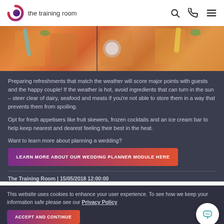the training room
[Figure (photo): Colorful cocktail drinks in glasses, a banner/carousel image from a wedding planning article]
Preparing refreshments that match the weather will score major points with guests and the happy couple! If the weather is hot, avoid ingredients that can turn in the sun – steer clear of dairy, seafood and meats if you're not able to store them in a way that prevents them from spoiling.
Opt for fresh appetisers like fruit skewers, frozen cocktails and an ice cream bar to help keep nearest and dearest feeling their best in the heat.
Want to learn more about planning a wedding?
LEARN MORE ABOUT OUR WEDDING PLANNER MODULE HERE
The Training Room | 15/05/2018 12:00:00
This website uses cookies to enhance your user experience. To see how we keep your information safe please see our Privacy Policy
ACCEPT AND CONTINUE